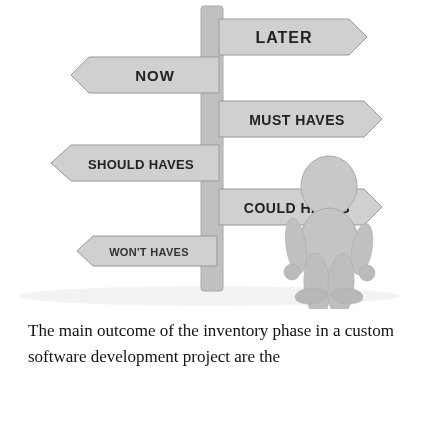[Figure (illustration): 3D illustration of a signpost with directional signs labeled: LATER (pointing right, top), NOW (pointing left), MUST HAVES (pointing right), SHOULD HAVES (pointing left), COULD HAVES (pointing right), WON'T HAVES (pointing left). A 3D white humanoid figure stands to the right looking at the signs.]
The main outcome of the inventory phase in a custom software development project are the